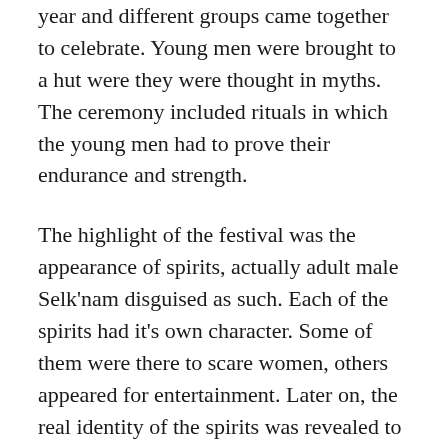year and different groups came together to celebrate. Young men were brought to a hut were they were thought in myths. The ceremony included rituals in which the young men had to prove their endurance and strength.
The highlight of the festival was the appearance of spirits, actually adult male Selk'nam disguised as such. Each of the spirits had it's own character. Some of them were there to scare women, others appeared for entertainment. Later on, the real identity of the spirits was revealed to the young men.
The last Hain was held in one of the missions in 1923, and it was photographed by Martin